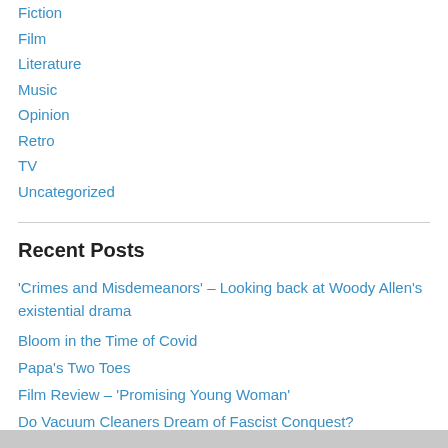Fiction
Film
Literature
Music
Opinion
Retro
TV
Uncategorized
Recent Posts
‘Crimes and Misdemeanors’ – Looking back at Woody Allen’s existential drama
Bloom in the Time of Covid
Papa’s Two Toes
Film Review – ‘Promising Young Woman’
Do Vacuum Cleaners Dream of Fascist Conquest?